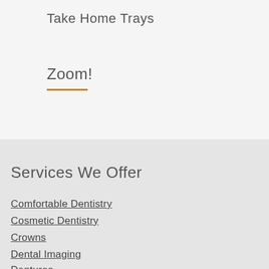Take Home Trays
Zoom!
Services We Offer
Comfortable Dentistry
Cosmetic Dentistry
Crowns
Dental Imaging
Dentures